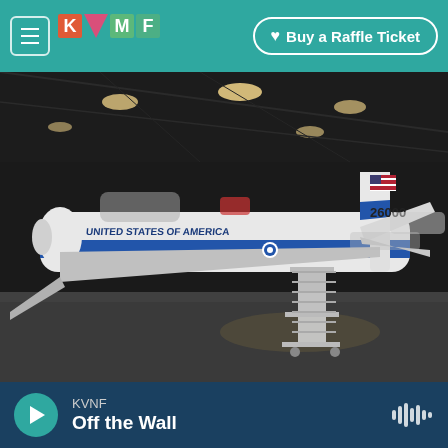KVNF — Buy a Raffle Ticket
[Figure (photo): Interior of a large aviation museum hangar showing a white and blue US Air Force jet aircraft labeled '26000' with 'United States of America' on the fuselage, an American flag on the tail, and a mobile staircase positioned at the door. Multiple other aircraft visible in the background under bright hangar lighting.]
Ken LaRock / National Museum Of The United / States Air Force    National Museum Of The United States Air Force
KVNF  Off the Wall